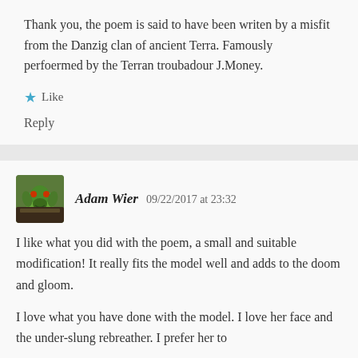Thank you, the poem is said to have been writen by a misfit from the Danzig clan of ancient Terra. Famously perfoermed by the Terran troubadour J.Money.
Like
Reply
Adam Wier   09/22/2017 at 23:32
I like what you did with the poem, a small and suitable modification! It really fits the model well and adds to the doom and gloom.
I love what you have done with the model. I love her face and the under-slung rebreather. I prefer her to